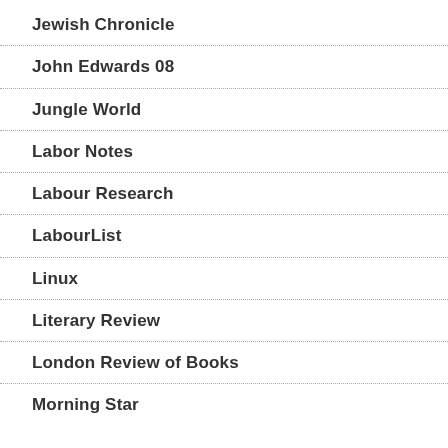Jewish Chronicle
John Edwards 08
Jungle World
Labor Notes
Labour Research
LabourList
Linux
Literary Review
London Review of Books
Morning Star